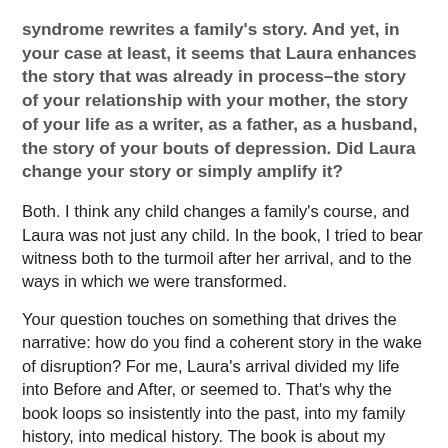syndrome rewrites a family's story. And yet, in your case at least, it seems that Laura enhances the story that was already in process–the story of your relationship with your mother, the story of your life as a writer, as a father, as a husband, the story of your bouts of depression. Did Laura change your story or simply amplify it?
Both. I think any child changes a family's course, and Laura was not just any child. In the book, I tried to bear witness both to the turmoil after her arrival, and to the ways in which we were transformed.
Your question touches on something that drives the narrative: how do you find a coherent story in the wake of disruption? For me, Laura's arrival divided my life into Before and After, or seemed to. That's why the book loops so insistently into the past, into my family history, into medical history. The book is about my search for